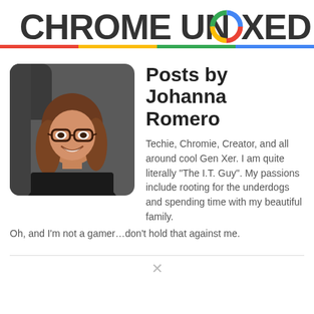CHROME UNBOXED
[Figure (photo): Headshot photo of Johanna Romero, a woman with glasses and long brown hair, smiling, wearing a dark top, with a dark background]
Posts by Johanna Romero
Techie, Chromie, Creator, and all around cool Gen Xer. I am quite literally "The I.T. Guy". My passions include rooting for the underdogs and spending time with my beautiful family. Oh, and I'm not a gamer…don't hold that against me.